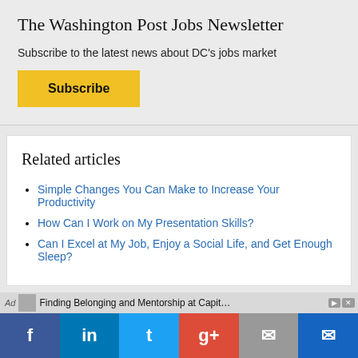The Washington Post Jobs Newsletter
Subscribe to the latest news about DC's jobs market
Subscribe
Related articles
Simple Changes You Can Make to Increase Your Productivity
How Can I Work on My Presentation Skills?
Can I Excel at My Job, Enjoy a Social Life, and Get Enough Sleep?
Ad  Finding Belonging and Mentorship at Capit…